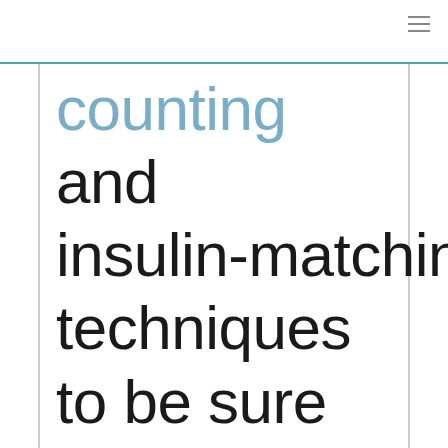≡
counting and insulin-matching techniques to be sure that needs are being met accurately. In some cases,